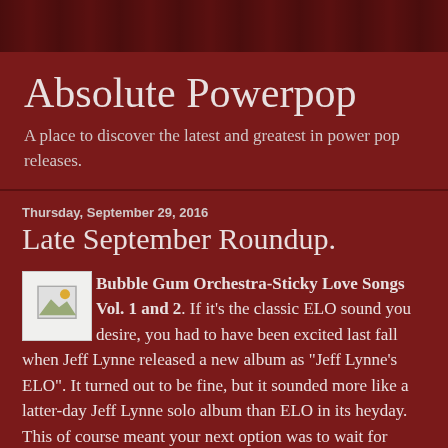[Figure (photo): Dark reddish decorative header image strip with repeating shadow pattern]
Absolute Powerpop
A place to discover the latest and greatest in power pop releases.
Thursday, September 29, 2016
Late September Roundup.
[Figure (photo): Small placeholder image icon with broken image symbol]
Bubble Gum Orchestra-Sticky Love Songs Vol. 1 and 2. If it's the classic ELO sound you desire, you had to have been excited last fall when Jeff Lynne released a new album as "Jeff Lynne's ELO". It turned out to be fine, but it sounded more like a latter-day Jeff Lynne solo album than ELO in its heyday. This of course meant your next option was to wait for Michael Hildebrandt to release another